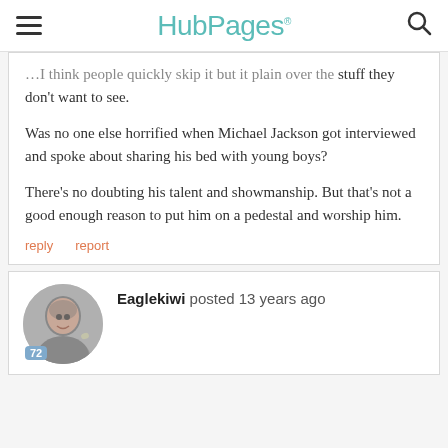HubPages
...I think people quickly skip it but it plain over the stuff they don't want to see.

Was no one else horrified when Michael Jackson got interviewed and spoke about sharing his bed with young boys?

There's no doubting his talent and showmanship. But that's not a good enough reason to put him on a pedestal and worship him.
reply   report
Eaglekiwi posted 13 years ago